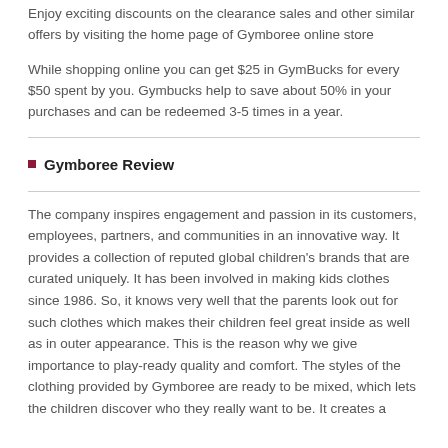Enjoy exciting discounts on the clearance sales and other similar offers by visiting the home page of Gymboree online store
While shopping online you can get $25 in GymBucks for every $50 spent by you. Gymbucks help to save about 50% in your purchases and can be redeemed 3-5 times in a year.
Gymboree Review
The company inspires engagement and passion in its customers, employees, partners, and communities in an innovative way. It provides a collection of reputed global children's brands that are curated uniquely. It has been involved in making kids clothes since 1986. So, it knows very well that the parents look out for such clothes which makes their children feel great inside as well as in outer appearance. This is the reason why we give importance to play-ready quality and comfort. The styles of the clothing provided by Gymboree are ready to be mixed, which lets the children discover who they really want to be. It creates a